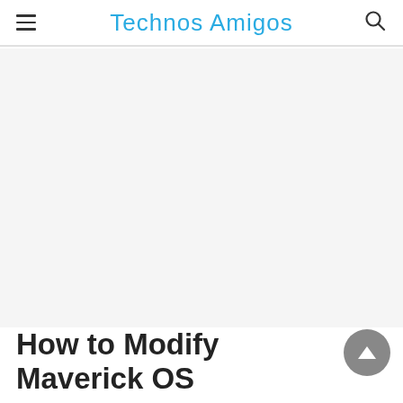Technos Amigos
[Figure (other): Advertisement or blank content area]
How to Modify Maverick OS